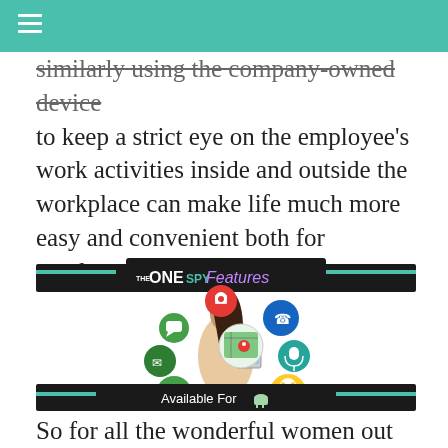similarly using the company-owned device to keep a strict eye on the employee's work activities inside and outside the workplace can make life much more easy and convenient both for employers and employees.
[Figure (infographic): TheOneSpy Features infographic showing a woman holding a tablet with various app icons (camera, messages, calls, microphone, maps, Snapchat, etc.) floating around her. Banner reads 'Available For' with Android and Apple icons.]
So for all the wonderful women out there